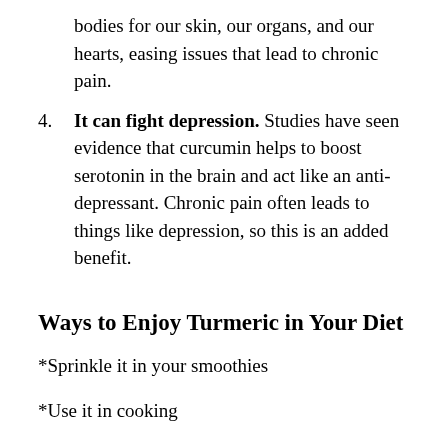bodies for our skin, our organs, and our hearts, easing issues that lead to chronic pain.
4. It can fight depression. Studies have seen evidence that curcumin helps to boost serotonin in the brain and act like an anti-depressant. Chronic pain often leads to things like depression, so this is an added benefit.
Ways to Enjoy Turmeric in Your Diet
*Sprinkle it in your smoothies
*Use it in cooking